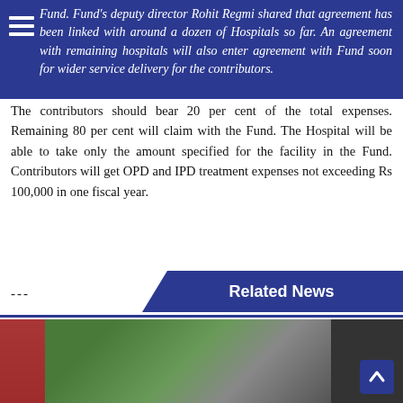Fund. Fund's deputy director Rohit Regmi shared that agreement has been linked with around a dozen of Hospitals so far. An agreement with remaining hospitals will also enter agreement with Fund soon for wider service delivery for the contributors.
The contributors should bear 20 per cent of the total expenses. Remaining 80 per cent will claim with the Fund. The Hospital will be able to take only the amount specified for the facility in the Fund. Contributors will get OPD and IPD treatment expenses not exceeding Rs 100,000 in one fiscal year.
---
Related News
[Figure (photo): A photograph showing people in an outdoor or indoor setting, partially visible at the bottom of the page.]